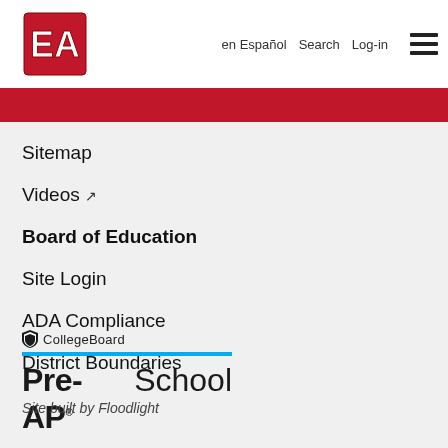EA logo | en Español | Search | Log-in | menu
Sitemap
Videos ↗
Board of Education
Site Login
ADA Compliance
District Boundaries
[Figure (logo): CollegeBoard Pre-AP School logo with shield icon, blue underline, bold Pre-AP text and School text]
Site built by Floodlight